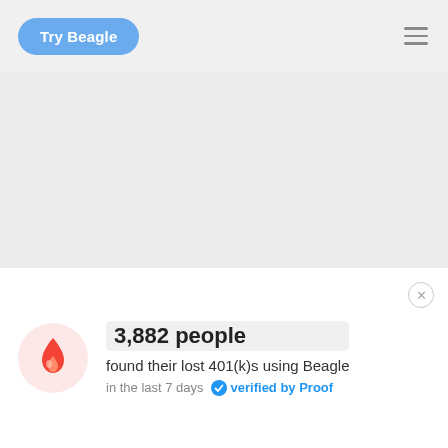Try Beagle
[Figure (other): Large light gray placeholder/main content area]
3,882 people found their lost 401(k)s using Beagle in the last 7 days  verified by Proof